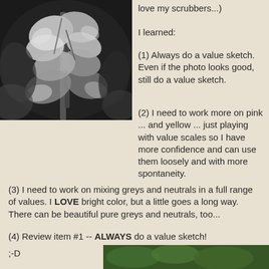[Figure (photo): Black and white photo of flowers (appears to be hollyhocks or similar tall flowers) with detailed petals and stems against a dark background]
love my scrubbers...)
I learned:
(1) Always do a value sketch. Even if the photo looks good, still do a value sketch.
(2) I need to work more on pink ... and yellow ... just playing with value scales so I have more confidence and can use them loosely and with more spontaneity.
(3) I need to work on mixing greys and neutrals in a full range of values. I LOVE bright color, but a little goes a long way. There can be beautiful pure greys and neutrals, too...
(4) Review item #1 -- ALWAYS do a value sketch!
;-D
[Figure (photo): Color photo at bottom of page showing green plant/foliage, partially visible]